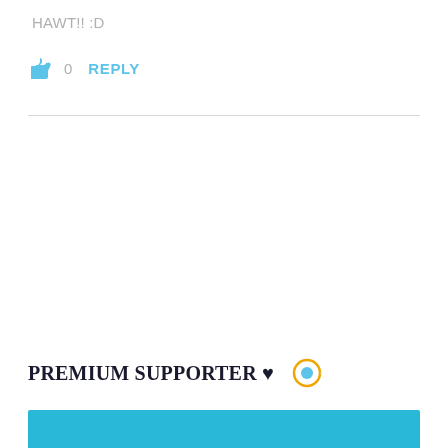HAWT!! :D
👍 0   REPLY
PREMIUM SUPPORTER ♥
[Figure (other): Blue bar at bottom of page]